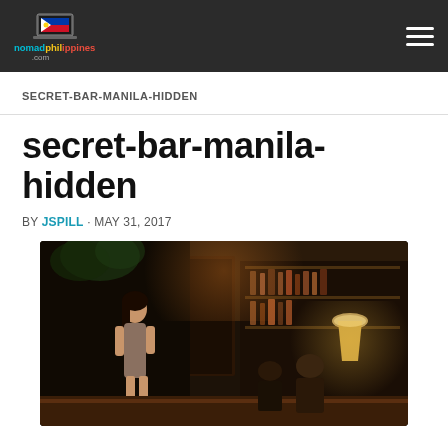nomadphilippines.com
SECRET-BAR-MANILA-HIDDEN
secret-bar-manila-hidden
BY JSPILL · MAY 31, 2017
[Figure (photo): Dark interior of a hidden bar in Manila, Philippines. A woman in a dress stands near the bar area. Warm lighting from a lamp on the right illuminates a bar counter with bottles. Low-light nightlife atmosphere.]